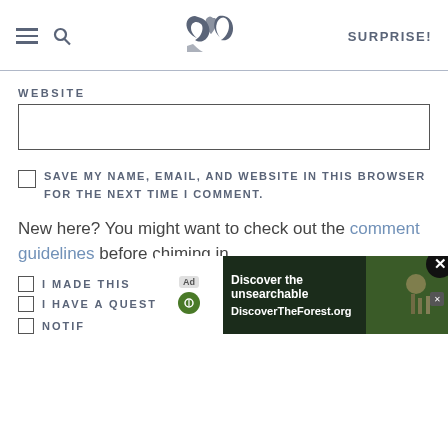SK | SURPRISE!
WEBSITE
SAVE MY NAME, EMAIL, AND WEBSITE IN THIS BROWSER FOR THE NEXT TIME I COMMENT.
New here? You might want to check out the comment guidelines before chiming in.
I MADE THIS
I HAVE A QUESTION
NOTIF…
[Figure (screenshot): Advertisement banner: 'Discover the unsearchable' with DiscoverTheForest.org and a forest photo with people hiking. Includes a close button.]